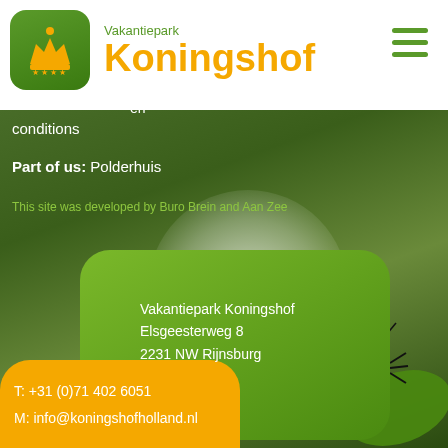[Figure (logo): Vakantiepark Koningshof logo: green rounded square badge with golden crown and 4 stars, next to text 'Vakantiepark Koningshof' in orange bold font]
[Figure (photo): Background nature photo with blurred white flowers and green foliage, ant/insect visible in bottom right]
conditions
Part of us: Polderhuis
This site was developed by Buro Brein and Aan Zee
Vakantiepark Koningshof
Elsgeesterweg 8
2231 NW Rijnsburg
T: +31 (0)71 402 6051
M: info@koningshofholland.nl